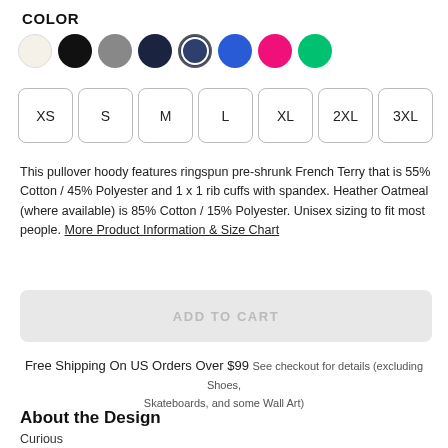COLOR
[Figure (other): Color swatch selector with 8 circular swatches: Heather Oatmeal (cream), Black, Gray, Dark Navy, Navy (selected with ring), Blue, Pink/Hot Pink, Green]
[Figure (other): Size selector buttons: XS, S, M, L, XL, 2XL, 3XL in rounded square buttons]
This pullover hoody features ringspun pre-shrunk French Terry that is 55% Cotton / 45% Polyester and 1 x 1 rib cuffs with spandex. Heather Oatmeal (where available) is 85% Cotton / 15% Polyester. Unisex sizing to fit most people. More Product Information & Size Chart
ADD TO CART
Free Shipping On US Orders Over $99 See checkout for details (excluding Shoes, Skateboards, and some Wall Art)
About the Design
Curious